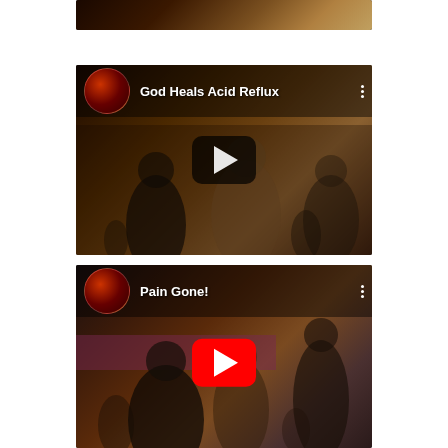[Figure (screenshot): Partial YouTube video thumbnail at top of page, dark brownish scene]
[Figure (screenshot): YouTube video thumbnail titled 'God Heals Acid Reflux' with dark play button overlay, showing people in a church/event setting]
[Figure (screenshot): YouTube video thumbnail titled 'Pain Gone!' with red YouTube play button overlay, showing people in a church/event setting]